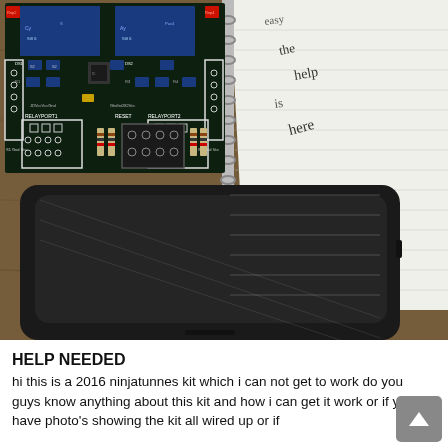[Figure (photo): Photograph of a 2016 ninjatunnes electronics kit circuit board (PCB with relay modules, connectors, resistors, red buttons) placed on top of a spiral-bound notebook with handwritten notes. A black tablet device corner is visible in the lower portion of the image.]
HELP NEEDED
hi this is a 2016 ninjatunnes kit which i can not get to work do you guys know anything about this kit and how i can get it work or if you have photo's showing the kit all wired up or if